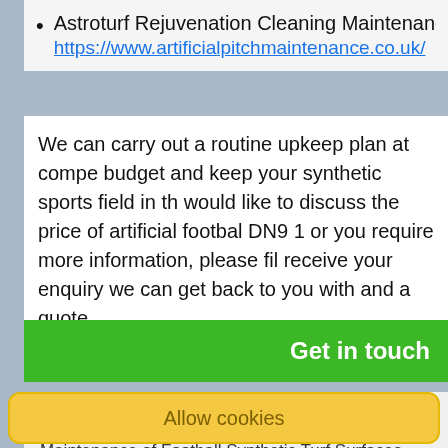Astroturf Rejuvenation Cleaning Maintenance https://www.artificialpitchmaintenance.co.uk/
We can carry out a routine upkeep plan at compe budget and keep your synthetic sports field in th would like to discuss the price of artificial footbal DN9 1 or you require more information, please fil receive your enquiry we can get back to you with and a quote.
Get in touch
Skip to
Maintenance of Football Synthetic Turf Surfaces
Allow cookies